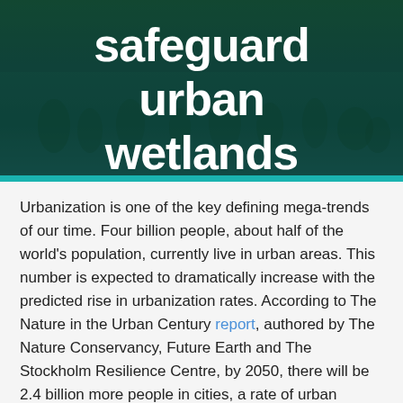[Figure (photo): Hero banner image with dark teal/green background showing an outdoor scene (people in a park or wetland), overlaid with large bold white text reading 'safeguard urban wetlands']
safeguard urban wetlands
Urbanization is one of the key defining mega-trends of our time. Four billion people, about half of the world's population, currently live in urban areas. This number is expected to dramatically increase with the predicted rise in urbanization rates. According to The Nature in the Urban Century report, authored by The Nature Conservancy, Future Earth and The Stockholm Resilience Centre, by 2050, there will be 2.4 billion more people in cities, a rate of urban growth that is equivalent to building a city the population of London every seven weeks. Humanity will urbanize an additional area of 1.2 million km², larger than the country of Colombia.